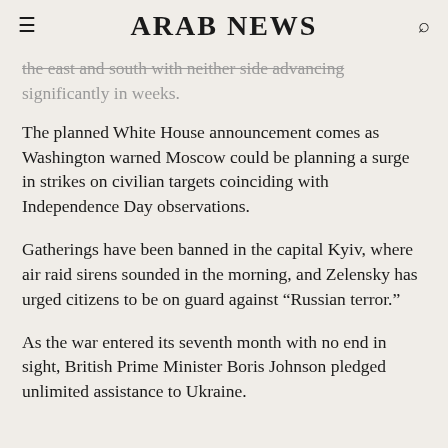ARAB NEWS
the east and south with neither side advancing significantly in weeks.
The planned White House announcement comes as Washington warned Moscow could be planning a surge in strikes on civilian targets coinciding with Independence Day observations.
Gatherings have been banned in the capital Kyiv, where air raid sirens sounded in the morning, and Zelensky has urged citizens to be on guard against “Russian terror.”
As the war entered its seventh month with no end in sight, British Prime Minister Boris Johnson pledged unlimited assistance to Ukraine.